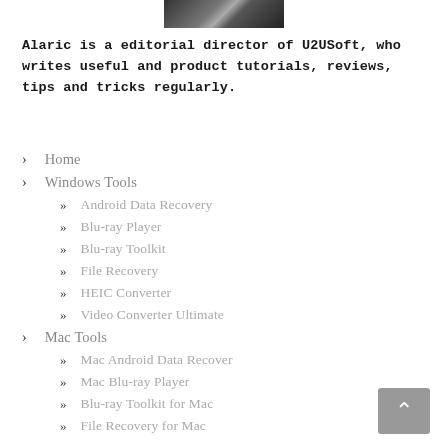[Figure (photo): Partial photo strip at top of page, showing black and white image]
Alaric is a editorial director of U2USoft, who writes useful and product tutorials, reviews, tips and tricks regularly.
> Home
> Windows Tools
>> Android Data Recovery
>> Blu-ray Player
>> Blu-ray Toolkit
>> File Recovery
>> HEIC Converter
>> Video Converter Ultimate
> Mac Tools
>> Mac Android Data Recover
>> Mac Blu-ray Player
>> Blu-ray Toolkit for Mac
>> File Recovery for Mac